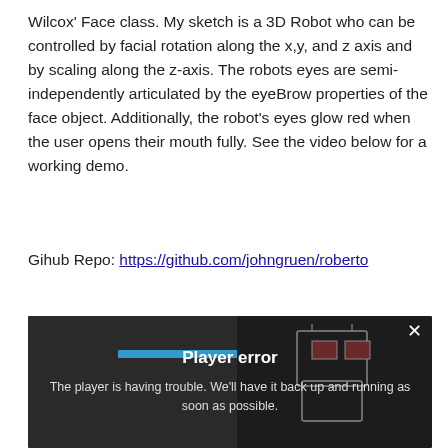Wilcox' Face class. My sketch is a 3D Robot who can be controlled by facial rotation along the x,y, and z axis and by scaling along the z-axis. The robots eyes are semi-independently articulated by the eyeBrow properties of the face object. Additionally, the robot's eyes glow red when the user opens their mouth fully. See the video below for a working demo.
Gihub Repo: https://github.com/johngruen/roberto
[Figure (screenshot): Embedded video player showing a person wearing a red hat on the left side and a robot outline on the right side. A player error overlay reads 'Player error' in bold white text and 'The player is having trouble. We'll have it back up and running as soon as possible.' A close (X) button appears in the top right corner.]